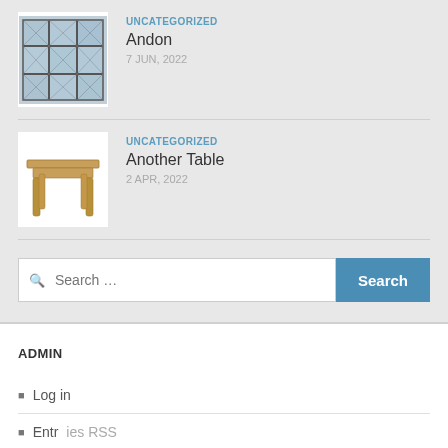[Figure (photo): Thumbnail image of a windowed wall with blue glass panes in a grid pattern]
UNCATEGORIZED
Andon
7 JUN, 2022
[Figure (illustration): Thumbnail image of a wooden table with four legs]
UNCATEGORIZED
Another Table
2 APR, 2022
Search …
ADMIN
Log in
Entries RSS